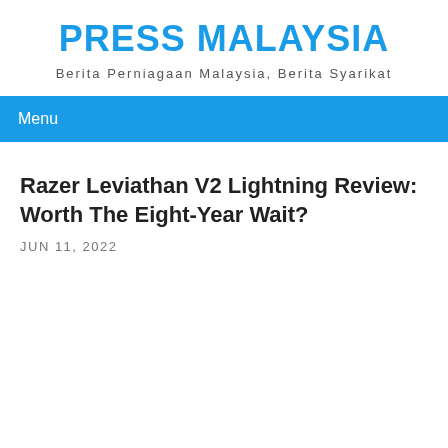PRESS MALAYSIA
Berita Perniagaan Malaysia, Berita Syarikat
Menu
Razer Leviathan V2 Lightning Review: Worth The Eight-Year Wait?
JUN 11, 2022